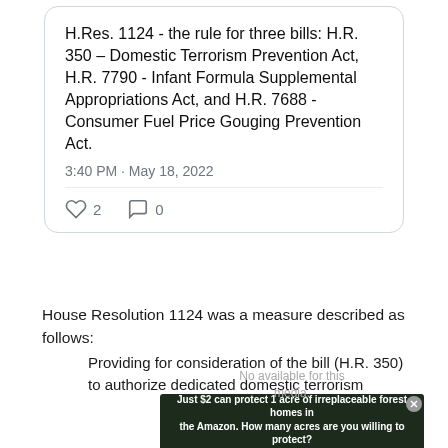H.Res. 1124 - the rule for three bills: H.R. 350 – Domestic Terrorism Prevention Act, H.R. 7790 - Infant Formula Supplemental Appropriations Act, and H.R. 7688 - Consumer Fuel Price Gouging Prevention Act.
3:40 PM · May 18, 2022
♡ 2   ◯ 0
House Resolution 1124 was a measure described as follows:
Providing for consideration of the bill (H.R. 350) to authorize dedicated domestic terrorism
[Figure (infographic): Advertisement banner: 'Just $2 can protect 1 acre of irreplaceable forest homes in the Amazon. How many acres are you willing to protect?' with green 'PROTECT FORESTS NOW' button, overlaid with media not available notice]